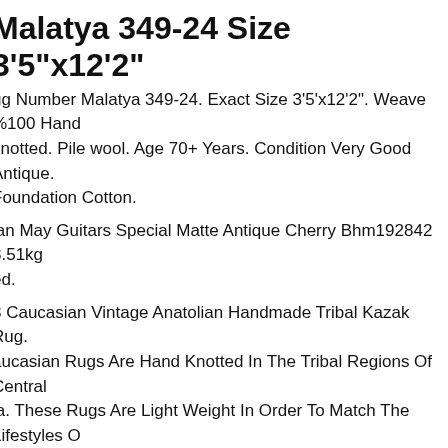Malatya 349-24 Size 3'5"x12'2"
ug Number Malatya 349-24. Exact Size 3'5'x12'2". Weave %100 Hand knotted. Pile wool. Age 70+ Years. Condition Very Good Antique. Foundation Cotton.
ian May Guitars Special Matte Antique Cherry Bhm192842 3.51kg ed.
8 Caucasian Vintage Anatolian Handmade Tribal Kazak Rug. aucasian Rugs Are Hand Knotted In The Tribal Regions Of Central ia. These Rugs Are Light Weight In Order To Match The Lifestyles Of omadic People. Most Common Colors Used Are Red, Blue, Green An ory.
ollctors' Piece Antique Above 100 Years Old Yamood Turkmenistan atural Dye Rug. Family Yamood. Blues Indigo Plant (dyers Woad). All atural And Cochineal Dye. Cochineal- Produced From The Female hield Louse (blue red Tone). Dyes Natural Dyes Are Still Used, But ince The 1950s Pre-dyed Wool Yarn (using Synthetic Dyes) Readily ound In The Towns And Villages Are Often Substituted For Or...